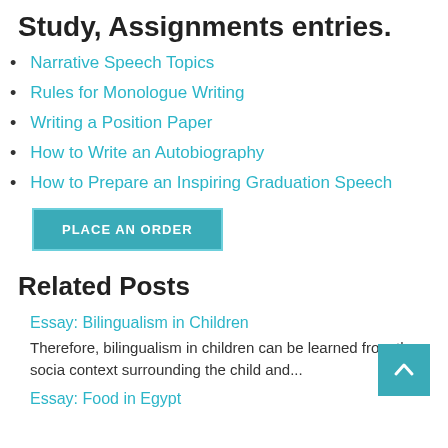Study, Assignments entries.
Narrative Speech Topics
Rules for Monologue Writing
Writing a Position Paper
How to Write an Autobiography
How to Prepare an Inspiring Graduation Speech
PLACE AN ORDER
Related Posts
Essay: Bilingualism in Children
Therefore, bilingualism in children can be learned from the social context surrounding the child and...
Essay: Food in Egypt